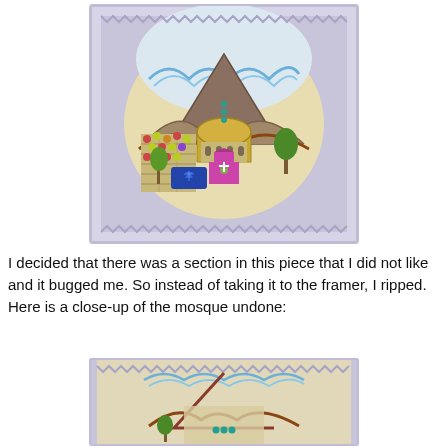[Figure (photo): A colorful needlepoint/embroidery artwork showing a Jerusalem scene with a Dome of the Rock, Western Wall, trees, and architectural elements, surrounded by a zigzag border pattern in lavender/grey. The inner oval design features buildings, a Star of David, mountains, and blue domed structures on a cream/tan background.]
I decided that there was a section in this piece that I did not like and it bugged me. So instead of taking it to the framer, I ripped. Here is a close-up of the mosque undone:
[Figure (photo): A close-up photo of the same needlepoint artwork with the mosque/dome section partially ripped out/undone, showing the bare canvas in the center where the mosque was. The zigzag border, mountain outlines in red/brown, blue wave border, and teal beads near the bottom are visible.]